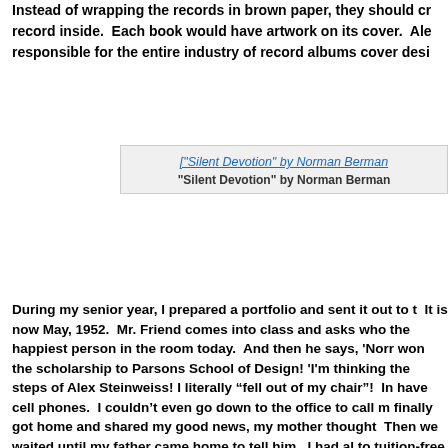Instead of wrapping the records in brown paper, they should cr record inside. Each book would have artwork on its cover. Ale responsible for the entire industry of record albums cover desi
[Figure (photo): Image placeholder for 'Silent Devotion' by Norman Berman with caption below]
"Silent Devotion" by Norman Berman
During my senior year, I prepared a portfolio and sent it out to t It is now May, 1952. Mr. Friend comes into class and asks who the happiest person in the room today. And then he says, 'Norr won the scholarship to Parsons School of Design! 'I'm thinking the steps of Alex Steinweiss! I literally “fell out of my chair”! In have cell phones. I couldn't even go down to the office to call m finally got home and shared my good news, my mother thought Then we waited until my father came home to tell him. I had al to tuition-free Brooklyn College. What to do... His father, a pro